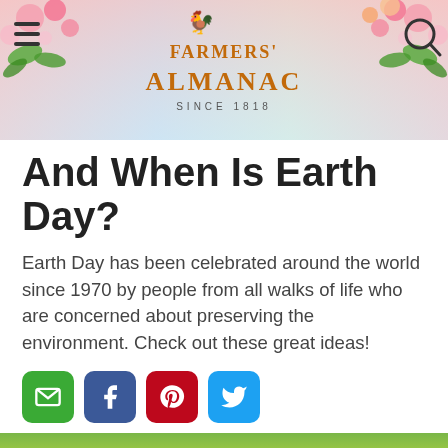[Figure (photo): Farmers' Almanac website header banner with floral decorations (pink flowers, green leaves), hamburger menu icon on left, Farmers' Almanac logo with rooster in center, search icon on right]
And When Is Earth Day?
Earth Day has been celebrated around the world since 1970 by people from all walks of life who are concerned about preserving the environment. Check out these great ideas!
[Figure (infographic): Social sharing buttons: green email button, blue Facebook button, red Pinterest button, light blue Twitter button]
[Figure (photo): Nature scene with tree silhouette against bright yellow-green sky, lower portion shows soft misty landscape]